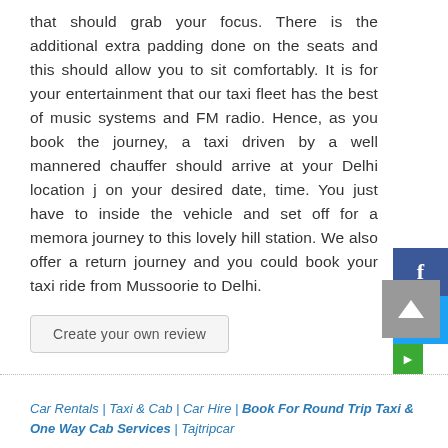that should grab your focus. There is the additional extra padding done on the seats and this should allow you to sit comfortably. It is for your entertainment that our taxi fleet has the best of music systems and FM radio. Hence, as you book the journey, a taxi driven by a well mannered chauffer should arrive at your Delhi location just on your desired date, time. You just have to sit inside the vehicle and set off for a memorable journey to this lovely hill station. We also offer a return journey and you could book your taxi ride from Mussoorie to Delhi.
Create your own review
Car Rentals | Taxi & Cab | Car Hire | Book For Round Trip Taxi & One Way Cab Services | Tajtripcar